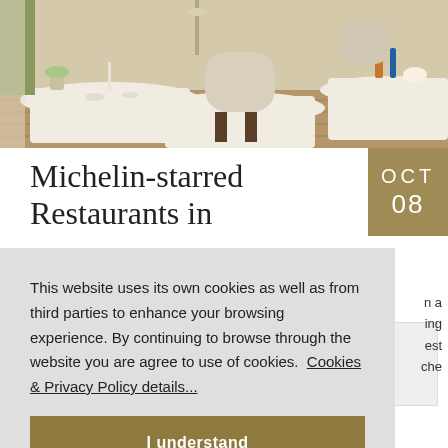[Figure (photo): Interior of an elegant restaurant dining room with white-clothed round tables, beige upholstered chairs, and wooden flooring]
OCT
08
Michelin-starred Restaurants in
This website uses its own cookies as well as from third parties to enhance your browsing experience. By continuing to browse through the website you are agree to use of cookies.  Cookies & Privacy Policy details...
I understand
n a
ing
est
che
Tags: food, travel,